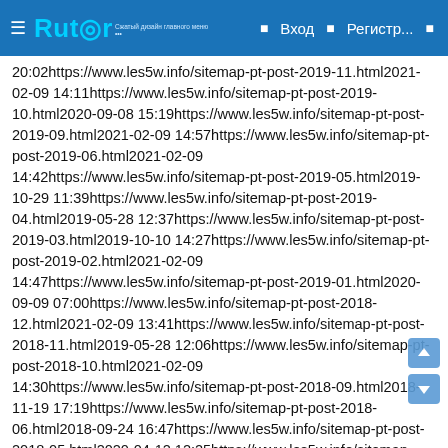Rutor — Вход — Регистр...
20:02https://www.les5w.info/sitemap-pt-post-2019-11.html2021-02-09 14:11https://www.les5w.info/sitemap-pt-post-2019-10.html2020-09-08 15:19https://www.les5w.info/sitemap-pt-post-2019-09.html2021-02-09 14:57https://www.les5w.info/sitemap-pt-post-2019-06.html2021-02-09 14:42https://www.les5w.info/sitemap-pt-post-2019-05.html2019-10-29 11:39https://www.les5w.info/sitemap-pt-post-2019-04.html2019-05-28 12:37https://www.les5w.info/sitemap-pt-post-2019-03.html2019-10-10 14:27https://www.les5w.info/sitemap-pt-post-2019-02.html2021-02-09 14:47https://www.les5w.info/sitemap-pt-post-2019-01.html2020-09-09 07:00https://www.les5w.info/sitemap-pt-post-2018-12.html2021-02-09 13:41https://www.les5w.info/sitemap-pt-post-2018-11.html2019-05-28 12:06https://www.les5w.info/sitemap-pt-post-2018-10.html2021-02-09 14:30https://www.les5w.info/sitemap-pt-post-2018-09.html2018-11-19 17:19https://www.les5w.info/sitemap-pt-post-2018-06.html2018-09-24 16:47https://www.les5w.info/sitemap-pt-post-2018-05.html2020-04-12 12:25https://www.les5w.info/sitemap-